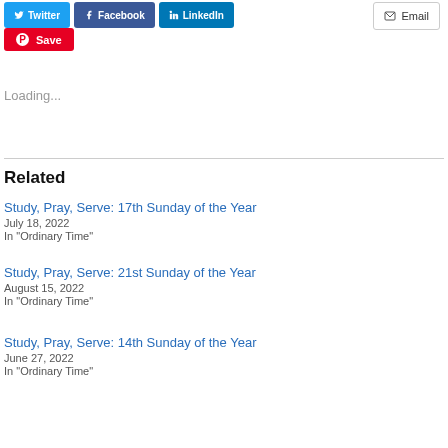[Figure (screenshot): Social share buttons: Twitter, Facebook, LinkedIn, Email, Pinterest Save]
Loading...
Related
Study, Pray, Serve: 17th Sunday of the Year
July 18, 2022
In "Ordinary Time"
Study, Pray, Serve: 21st Sunday of the Year
August 15, 2022
In "Ordinary Time"
Study, Pray, Serve: 14th Sunday of the Year
June 27, 2022
In "Ordinary Time"